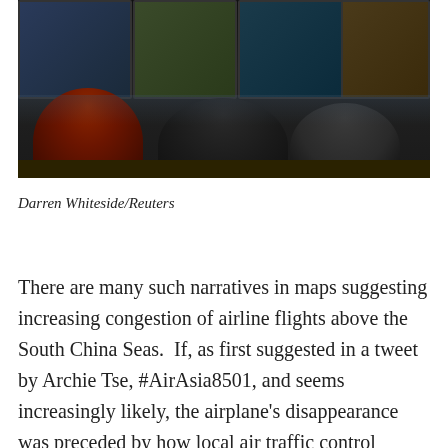[Figure (photo): Photo of people sitting at computer workstations in a control room, seen from behind, with multiple monitors displaying data]
Darren Whiteside/Reuters
There are many such narratives in maps suggesting increasing congestion of airline flights above the South China Seas.  If, as first suggested in a tweet by Archie Tse, #AirAsia8501, and seems increasingly likely, the airplane's disappearance was preceded by how local air traffic control prevented the plane from changing not only its flight path but altitude as requested in the face of changing meteorological conditions, responsibility may largely lie in